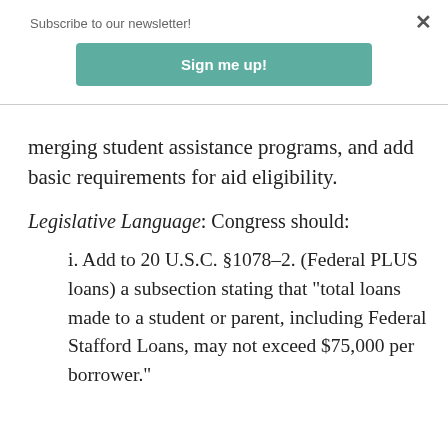Subscribe to our newsletter!
Sign me up!
merging student assistance programs, and add basic requirements for aid eligibility.
Legislative Language: Congress should:
i. Add to 20 U.S.C. §1078–2. (Federal PLUS loans) a subsection stating that “total loans made to a student or parent, including Federal Stafford Loans, may not exceed $75,000 per borrower.”